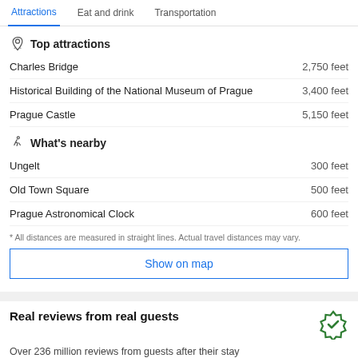Attractions | Eat and drink | Transportation
Top attractions
Charles Bridge — 2,750 feet
Historical Building of the National Museum of Prague — 3,400 feet
Prague Castle — 5,150 feet
What's nearby
Ungelt — 300 feet
Old Town Square — 500 feet
Prague Astronomical Clock — 600 feet
* All distances are measured in straight lines. Actual travel distances may vary.
Show on map
Real reviews from real guests
Over 236 million reviews from guests after their stay